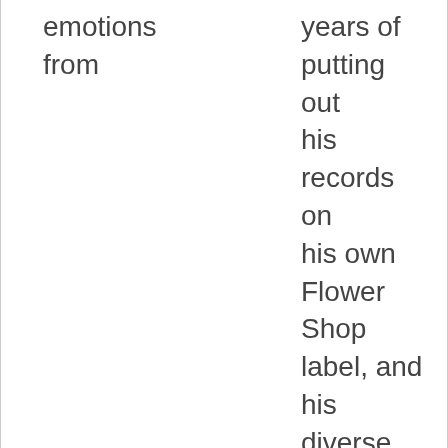emotions
from
years of putting out his records on his own Flower Shop label, and his diverse new record, 'People are Like Seasons'